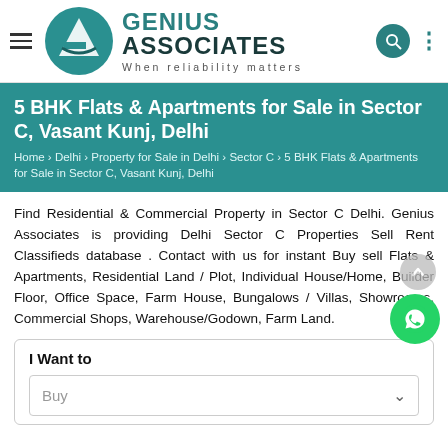[Figure (logo): Genius Associates logo with teal circular emblem and company name]
5 BHK Flats & Apartments for Sale in Sector C, Vasant Kunj, Delhi
Home › Delhi › Property for Sale in Delhi › Sector C › 5 BHK Flats & Apartments for Sale in Sector C, Vasant Kunj, Delhi
Find Residential & Commercial Property in Sector C Delhi. Genius Associates is providing Delhi Sector C Properties Sell Rent Classifieds database . Contact with us for instant Buy sell Flats & Apartments, Residential Land / Plot, Individual House/Home, Builder Floor, Office Space, Farm House, Bungalows / Villas, Showrooms, Commercial Shops, Warehouse/Godown, Farm Land.
I Want to
Buy